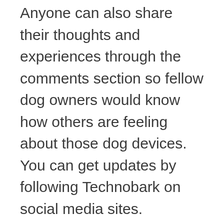Anyone can also share their thoughts and experiences through the comments section so fellow dog owners would know how others are feeling about those dog devices. You can get updates by following Technobark on social media sites.
If you are soon to become a dog parent, taking care of dogs is really worth it! Loyalty and compassion will be coming on your way and Technobark has the information you